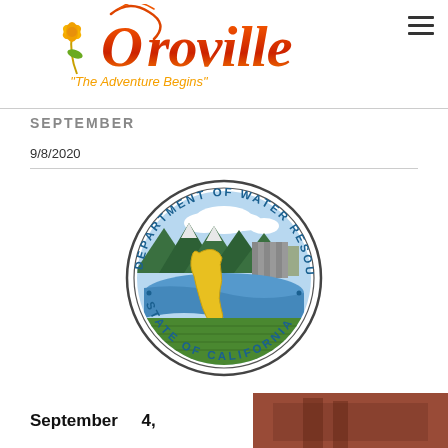[Figure (logo): Oroville city logo with stylized script text reading 'Oroville' in orange/red gradient with floral decoration and tagline 'The Adventure Begins' in orange]
SEPTEMBER
9/8/2020
[Figure (logo): California Department of Water Resources official seal — circular seal with text 'DEPARTMENT OF WATER RESOURCES · STATE OF CALIFORNIA' surrounding an illustration of California state outline, mountains, reservoir dam, and agricultural fields]
September   4,